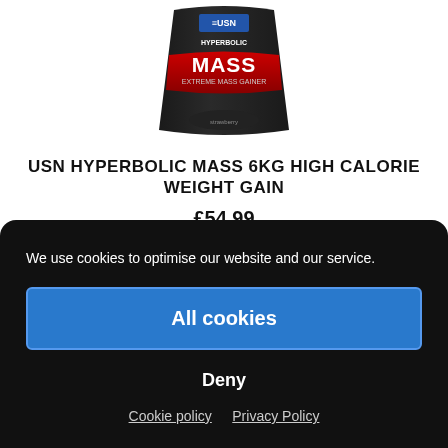[Figure (photo): USN Hyperbolic Mass 6KG product bag with red and black packaging]
USN HYPERBOLIC MASS 6KG HIGH CALORIE WEIGHT GAIN
£54.99
Select options
We use cookies to optimise our website and our service.
All cookies
Deny
Cookie policy   Privacy Policy